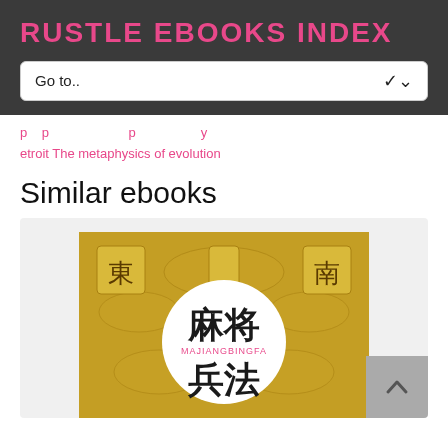RUSTLE EBOOKS INDEX
Go to..
etroit The metaphysics of evolution
Similar ebooks
[Figure (photo): Book cover for Majiangbingfa (麻将兵法) showing Chinese characters and decorative floral pattern on gold background with white circular center panel. Chinese characters 東 and 南 appear in top corners.]